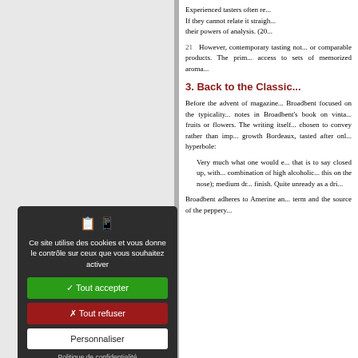Experienced tasters often re... If they cannot relate it straigh... their powers of analysis. (20...
21  However, contemporary tasting not... or comparable products. The prim... access to sets of memorized aroma...
3. Back to the Classic...
Before the advent of magazine... Broadbent focused on the typicality... notes in Broadbent's book on vinta... fruits or flowers. The writing itself... chosen to convey rather than imp... growth Bordeaux, tasted after onl... hyperbole:
Very much what one would e... that is to say closed up, with... combination of high alcoholic... this on the nose); medium dr... finish. Quite unready as a dri...
Broadbent adheres to Amerine an... term and the source of the peppery...
[Figure (screenshot): Cookie consent dialog overlay in French with dark background, showing two icons (thumbs up and device), text 'Ce site utilise des cookies et vous donne le contrôle sur ceux que vous souhaitez activer', a green 'Tout accepter' button, a red 'Tout refuser' button, a white 'Personnaliser' button, and a 'Politique de confidentialité' link.]